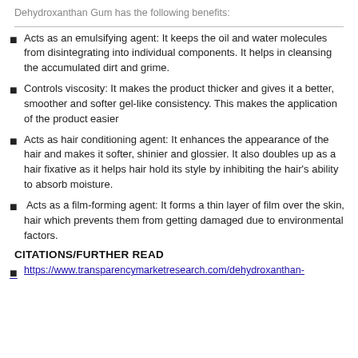Dehydroxanthan Gum has the following benefits:
Acts as an emulsifying agent: It keeps the oil and water molecules from disintegrating into individual components. It helps in cleansing the accumulated dirt and grime.
Controls viscosity: It makes the product thicker and gives it a better, smoother and softer gel-like consistency. This makes the application of the product easier
Acts as hair conditioning agent: It enhances the appearance of the hair and makes it softer, shinier and glossier. It also doubles up as a hair fixative as it helps hair hold its style by inhibiting the hair's ability to absorb moisture.
Acts as a film-forming agent: It forms a thin layer of film over the skin, hair which prevents them from getting damaged due to environmental factors.
CITATIONS/FURTHER READ
https://www.transparencymarketresearch.com/dehydroxanthan-